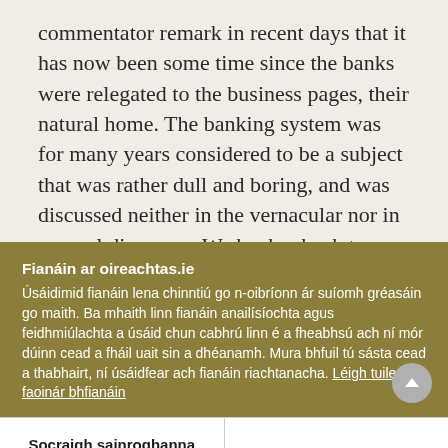commentator remark in recent days that it has now been some time since the banks were relegated to the business pages, their natural home. The banking system was for many years considered to be a subject that was rather dull and boring, and was discussed neither in the vernacular nor in general discourse. We hanker back to those days and wish they would return soon. However, I doubt they will,
Fianáin ar oireachtas.ie
Úsáidimid fianáin lena chinntiú go n-oibríonn ár suíomh gréasáin go maith. Ba mhaith linn fianáin anailísíochta agus feidhmiúlachta a úsáid chun cabhrú linn é a fheabhsú ach ní mór dúinn cead a fháil uait sin a dhéanamh. Mura bhfuil tú sásta cead a thabhairt, ní úsáidfear ach fianáin riachtanacha. Léigh tuileadh faoinár bhfianáin
Socraigh sainroghanna fianán
Glac leis na fianáin go léir